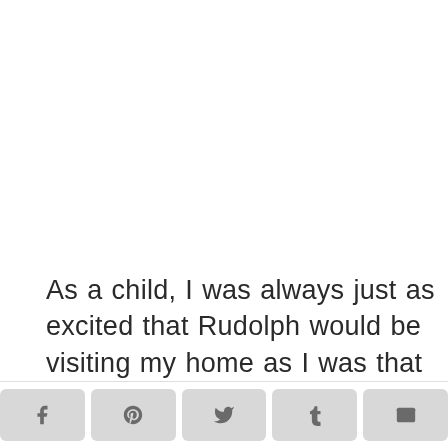As a child, I was always just as excited that Rudolph would be visiting my home as I was that Santa would be arriving.  We would always leave cookies, milk and carrots out for the
[Figure (other): Social sharing buttons row: Facebook, Pinterest, Twitter, Tumblr, Email]